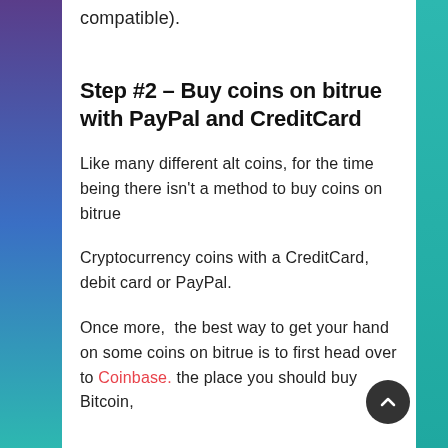compatible).
Step #2 – Buy coins on bitrue with PayPal and CreditCard
Like many different alt coins, for the time being there isn't a method to buy coins on bitrue
Cryptocurrency coins with a CreditCard, debit card or PayPal.
Once more,  the best way to get your hand on some coins on bitrue is to first head over to Coinbase. the place you should buy Bitcoin,